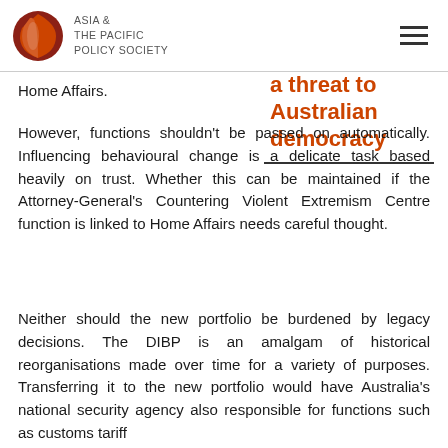ASIA & THE PACIFIC POLICY SOCIETY
Home Affairs.
a threat to Australian democracy
However, functions shouldn't be passed on automatically. Influencing behavioural change is a delicate task based heavily on trust. Whether this can be maintained if the Attorney-General's Countering Violent Extremism Centre function is linked to Home Affairs needs careful thought.
Neither should the new portfolio be burdened by legacy decisions. The DIBP is an amalgam of historical reorganisations made over time for a variety of purposes. Transferring it to the new portfolio would have Australia's national security agency also responsible for functions such as customs tariff